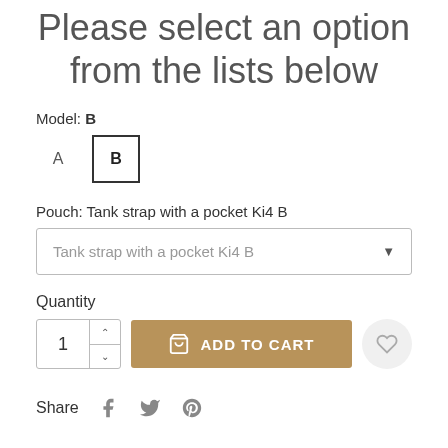Please select an option from the lists below
Model: B
A   B
Pouch: Tank strap with a pocket Ki4 B
Tank strap with a pocket Ki4 B
Quantity
1   ADD TO CART
Share